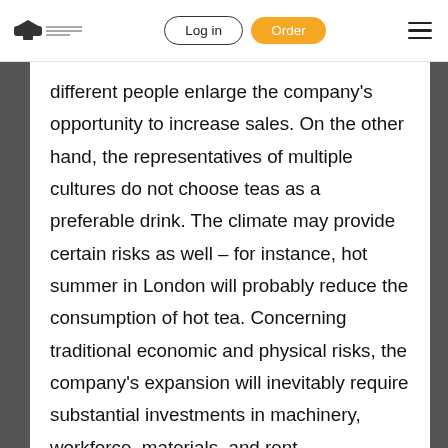Log in | Order
different people enlarge the company’s opportunity to increase sales. On the other hand, the representatives of multiple cultures do not choose teas as a preferable drink. The climate may provide certain risks as well – for instance, hot summer in London will probably reduce the consumption of hot tea. Concerning traditional economic and physical risks, the company’s expansion will inevitably require substantial investments in machinery, workforce, materials, and rent.